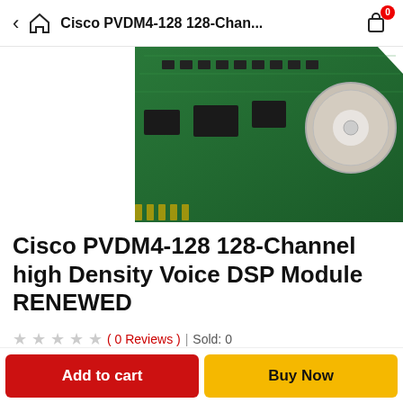Cisco PVDM4-128 128-Chan...
[Figure (photo): Partial view of a green circuit board (Cisco PVDM4-128 DSP module) shown from an angle, cropped at the top of the product listing.]
Cisco PVDM4-128 128-Channel high Density Voice DSP Module RENEWED
★ ★ ★ ★ ★ ( 0 Reviews ) | Sold: 0
$0.00
Category:  Networking